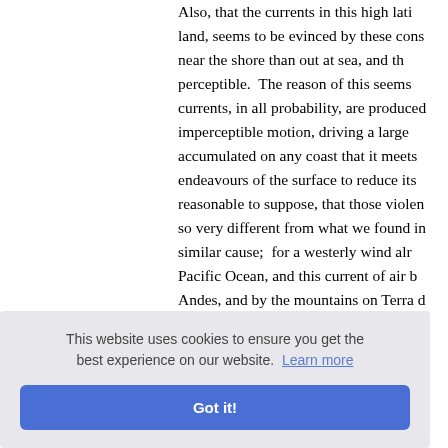Also, that the currents in this high lati land, seems to be evinced by these cons near the shore than out at sea, and th perceptible. The reason of this seems currents, in all probability, are produced imperceptible motion, driving a large accumulated on any coast that it meets endeavours of the surface to reduce its reasonable to suppose, that those violen so very different from what we found in similar cause; for a westerly wind alr Pacific Ocean, and this current of air b Andes, and by the mountains on Terra d ...rt only d e rest mu thward, a ost part o assume, ce of the f Terra de
This website uses cookies to ensure you get the best experience on our website. Learn more
Got it!